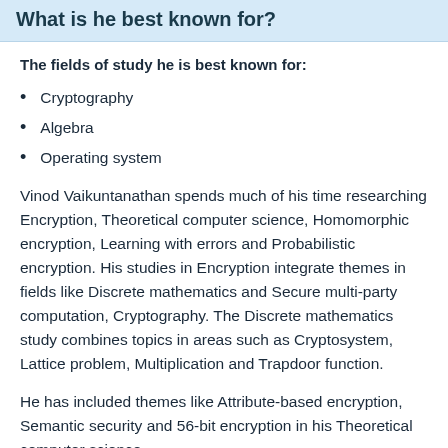What is he best known for?
The fields of study he is best known for:
Cryptography
Algebra
Operating system
Vinod Vaikuntanathan spends much of his time researching Encryption, Theoretical computer science, Homomorphic encryption, Learning with errors and Probabilistic encryption. His studies in Encryption integrate themes in fields like Discrete mathematics and Secure multi-party computation, Cryptography. The Discrete mathematics study combines topics in areas such as Cryptosystem, Lattice problem, Multiplication and Trapdoor function.
He has included themes like Attribute-based encryption, Semantic security and 56-bit encryption in his Theoretical computer science...